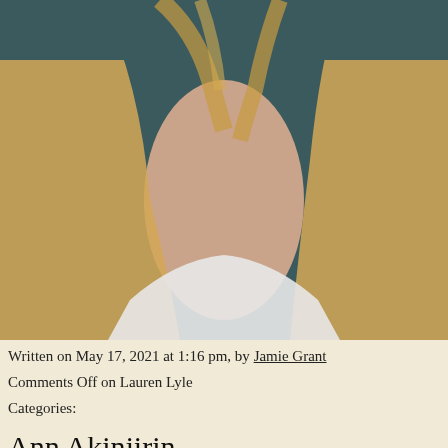[Figure (photo): Cropped photo of a blonde woman wearing a white top, with a dark teal background, showing neck and upper chest area]
Written on May 17, 2021 at 1:16 pm, by Jamie Grant
Comments Off on Lauren Lyle
Categories:
Ann Akinjirin
[Figure (photo): Photo of a Black man with short natural hair against a grey background, cropped to show the top of his head and face]